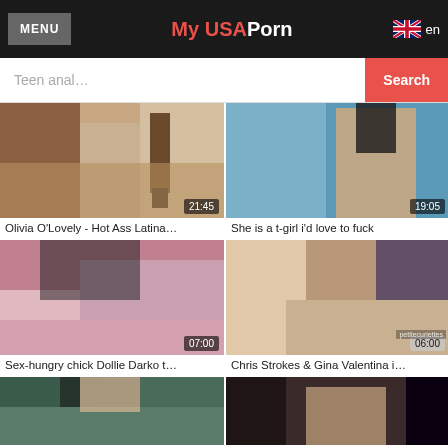MENU | My USAPorn | en
Teen anal... Search
[Figure (screenshot): Video thumbnail - Olivia O'Lovely, duration 21:45]
Olivia O'Lovely - Hot Ass Latina...
[Figure (screenshot): Video thumbnail - t-girl, duration 19:05]
She is a t-girl i'd love to fuck
[Figure (screenshot): Video thumbnail - Dollie Darko, duration 07:00]
Sex-hungry chick Dollie Darko t...
[Figure (screenshot): Video thumbnail - Chris Strokes & Gina Valentina, duration 06:00]
Chris Strokes & Gina Valentina i...
[Figure (screenshot): Video thumbnail - partially visible, bottom left]
[Figure (screenshot): Video thumbnail - partially visible, bottom right]